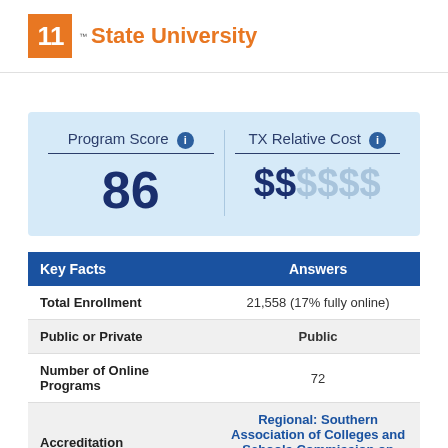[Figure (logo): Institution logo with orange square containing stylized '11' letters and 'State University' text in orange]
|  |  |
| --- | --- |
| Program Score 🛈 | TX Relative Cost 🛈 |
| 86 | $$$$$$ |
| Key Facts | Answers |
| --- | --- |
| Total Enrollment | 21,558 (17% fully online) |
| Public or Private | Public |
| Number of Online Programs | 72 |
| Accreditation | Regional: Southern Association of Colleges and Schools Commission on Colleges (SACSCOC) |
| Average In-State | 20,500 |